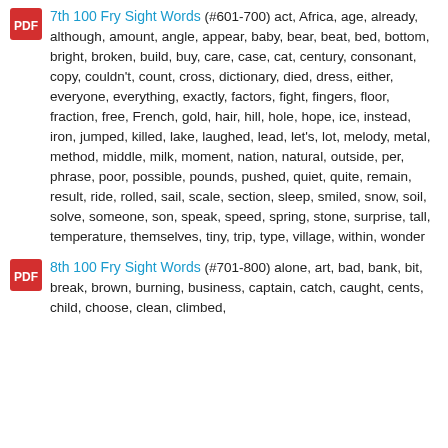7th 100 Fry Sight Words (#601-700) act, Africa, age, already, although, amount, angle, appear, baby, bear, beat, bed, bottom, bright, broken, build, buy, care, case, cat, century, consonant, copy, couldn't, count, cross, dictionary, died, dress, either, everyone, everything, exactly, factors, fight, fingers, floor, fraction, free, French, gold, hair, hill, hole, hope, ice, instead, iron, jumped, killed, lake, laughed, lead, let's, lot, melody, metal, method, middle, milk, moment, nation, natural, outside, per, phrase, poor, possible, pounds, pushed, quiet, quite, remain, result, ride, rolled, sail, scale, section, sleep, smiled, snow, soil, solve, someone, son, speak, speed, spring, stone, surprise, tall, temperature, themselves, tiny, trip, type, village, within, wonder
8th 100 Fry Sight Words (#701-800) alone, art, bad, bank, bit, break, brown, burning, business, captain, catch, caught, cents, child, choose, clean, climbed,